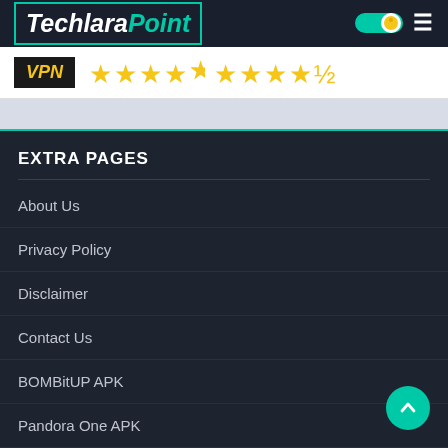Techlara Point
[Figure (logo): Techlara Point logo with teal border and toggle/hamburger icons on the right]
[Figure (infographic): VPN badge label in black with yellow italic text, followed by 4.5 star rating in yellow]
EXTRA PAGES
About Us
Privacy Policy
Disclaimer
Contact Us
BOMBitUP APK
Pandora One APK